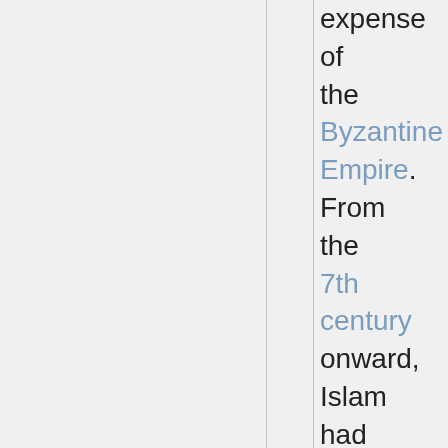expense of the Byzantine Empire. From the 7th century onward, Islam had been gaining ground